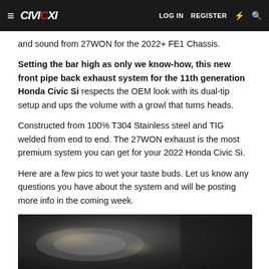≡ CIVICXI  LOG IN  REGISTER  ⚡  🔍
and sound from 27WON for the 2022+ FE1 Chassis.
Setting the bar high as only we know-how, this new front pipe back exhaust system for the 11th generation Honda Civic Si respects the OEM look with its dual-tip setup and ups the volume with a growl that turns heads.
Constructed from 100% T304 Stainless steel and TIG welded from end to end. The 27WON exhaust is the most premium system you can get for your 2022 Honda Civic Si.
Here are a few pics to wet your taste buds. Let us know any questions you have about the system and will be posting more info in the coming week.
[Figure (photo): Close-up photo of a stainless steel exhaust system component, dark moody background with metallic highlights]